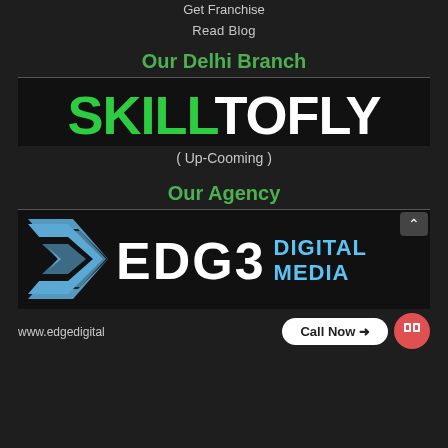Get Franchise
Read Blog
Our Delhi Branch
[Figure (logo): SKILLTOFLY logo in green and white bold text on dark background]
( Up-Cooming )
Our Agency
[Figure (logo): Edge Digital Media logo with blue arrow chevron and stylized EDGE text with DIGITAL MEDIA in blue on dark background]
www.edgedigital...
Call Now